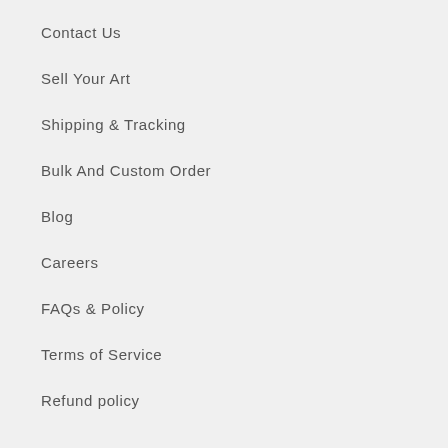Contact Us
Sell Your Art
Shipping & Tracking
Bulk And Custom Order
Blog
Careers
FAQs & Policy
Terms of Service
Refund policy